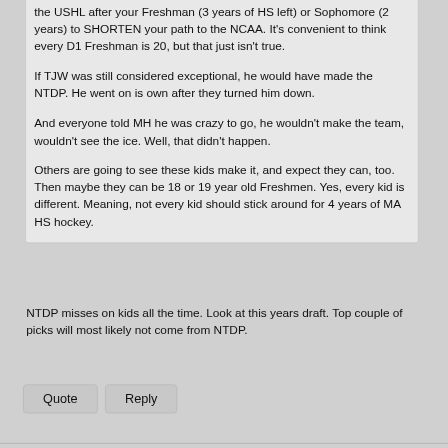the USHL after your Freshman (3 years of HS left) or Sophomore (2 years) to SHORTEN your path to the NCAA. It's convenient to think every D1 Freshman is 20, but that just isn't true.
If TJW was still considered exceptional, he would have made the NTDP. He went on is own after they turned him down.
And everyone told MH he was crazy to go, he wouldn't make the team, wouldn't see the ice. Well, that didn't happen.
Others are going to see these kids make it, and expect they can, too. Then maybe they can be 18 or 19 year old Freshmen. Yes, every kid is different. Meaning, not every kid should stick around for 4 years of MA HS hockey.
NTDP misses on kids all the time. Look at this years draft. Top couple of picks will most likely not come from NTDP.
Quote
Reply